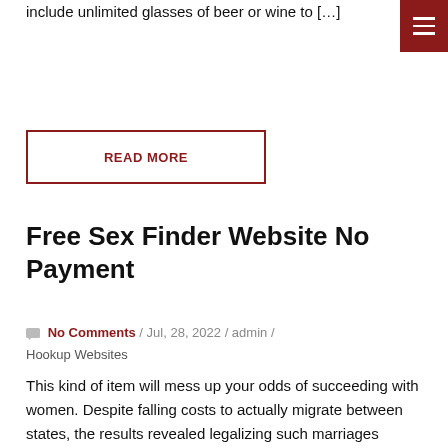include unlimited glasses of beer or wine to […]
READ MORE
Free Sex Finder Website No Payment
No Comments / Jul, 28, 2022 / admin / Hookup Websites
This kind of item will mess up your odds of succeeding with women. Despite falling costs to actually migrate between states, the results revealed legalizing such marriages actually raises